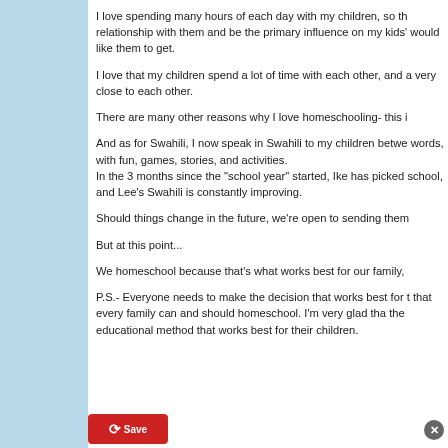I love spending many hours of each day with my children, so th relationship with them and be the primary influence on my kids' would like them to get.
I love that my children spend a lot of time with each other, and a very close to each other.
There are many other reasons why I love homeschooling- this i
And as for Swahili, I now speak in Swahili to my children betwe words, with fun, games, stories, and activities. In the 3 months since the "school year" started, Ike has picked school, and Lee's Swahili is constantly improving.
Should things change in the future, we're open to sending them
But at this point...
We homeschool because that's what works best for our family,
P.S.- Everyone needs to make the decision that works best for t that every family can and should homeschool. I'm very glad tha the educational method that works best for their children.